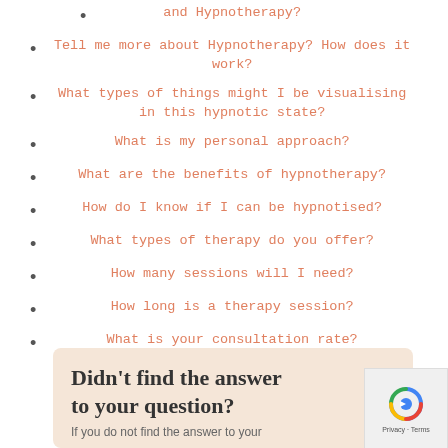and Hypnotherapy?
Tell me more about Hypnotherapy? How does it work?
What types of things might I be visualising in this hypnotic state?
What is my personal approach?
What are the benefits of hypnotherapy?
How do I know if I can be hypnotised?
What types of therapy do you offer?
How many sessions will I need?
How long is a therapy session?
What is your consultation rate?
Didn't find the answer to your question?
If you do not find the answer to your